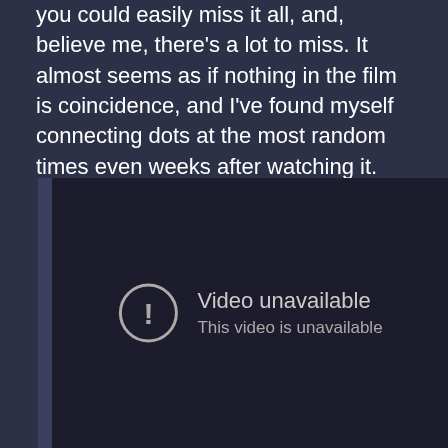you could easily miss it all, and, believe me, there's a lot to miss. It almost seems as if nothing in the film is coincidence, and I've found myself connecting dots at the most random times even weeks after watching it.
[Figure (screenshot): Embedded video player showing 'Video unavailable' error message with a circle exclamation icon and text 'This video is unavailable']